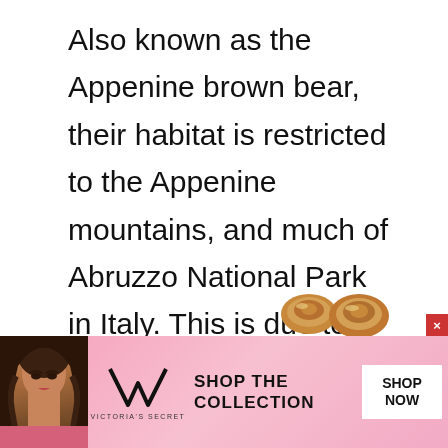Also known as the Appenine brown bear, their habitat is restricted to the Appenine mountains, and much of Abruzzo National Park in Italy. This is due to their critically endangered status. With only between 50-70 Marsican brown bears left in the country, everything is being done to conserve this habitat and help them to breed.
[Figure (screenshot): Like/heart widget showing count 177 and a heart icon button, plus a blue circular search button below]
[Figure (photo): Advertisement banner for Victoria's Secret featuring a model, the VS logo, 'SHOP THE COLLECTION' text, and a 'SHOP NOW' button on a pink background]